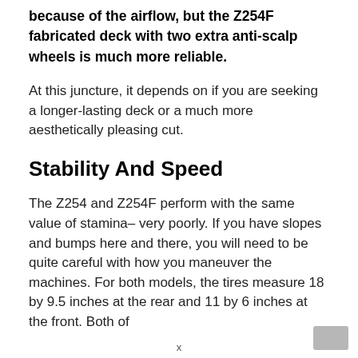because of the airflow, but the Z254F fabricated deck with two extra anti-scalp wheels is much more reliable.
At this juncture, it depends on if you are seeking a longer-lasting deck or a much more aesthetically pleasing cut.
Stability And Speed
The Z254 and Z254F perform with the same value of stamina– very poorly. If you have slopes and bumps here and there, you will need to be quite careful with how you maneuver the machines. For both models, the tires measure 18 by 9.5 inches at the rear and 11 by 6 inches at the front. Both of
x